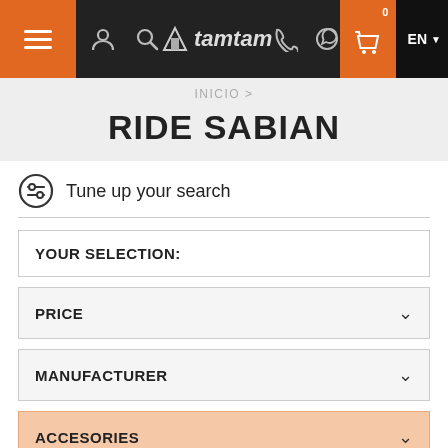[Figure (screenshot): Top navigation bar with hamburger menu, user icon, search icon, Tamtam Percusion logo, phone icon, WhatsApp icon, shopping cart with 0 badge, EN language selector]
INICIO >
RIDE SABIAN
Tune up your search
YOUR SELECTION:
PRICE
MANUFACTURER
ACCESORIES
1 product